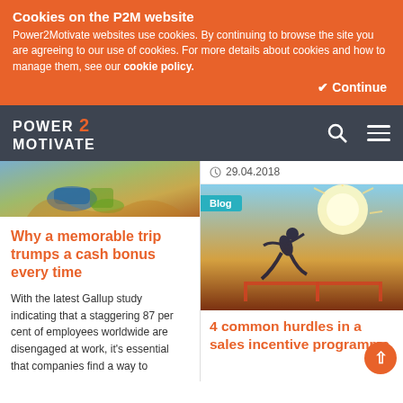Cookies on the P2M website
Power2Motivate websites use cookies. By continuing to browse the site you are agreeing to our use of cookies. For more details about cookies and how to manage them, see our cookie policy.
Continue
POWER 2 MOTIVATE
[Figure (photo): Outdoor scene with hiking gear on autumn leaves]
29.04.2018
Why a memorable trip trumps a cash bonus every time
With the latest Gallup study indicating that a staggering 87 per cent of employees worldwide are disengaged at work, it's essential that companies find a way to
[Figure (photo): Athlete jumping over a hurdle against a bright sun backdrop with Blog badge]
4 common hurdles in a sales incentive programme